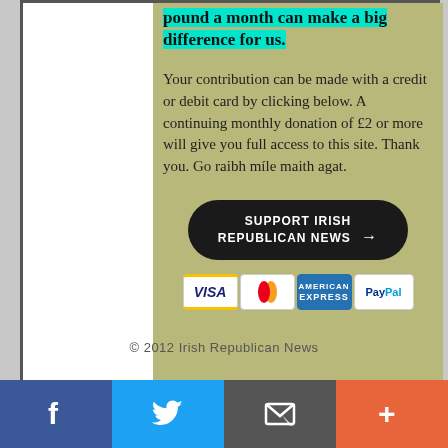pound a month can make a big difference for us.
Your contribution can be made with a credit or debit card by clicking below. A continuing monthly donation of £2 or more will give you full access to this site. Thank you. Go raibh míle maith agat.
[Figure (other): Support Irish Republican News button with arrow]
[Figure (other): Payment icons: Visa, Mastercard, American Express, PayPal]
© 2012 Irish Republican News
[Figure (other): Social sharing bar with Facebook, Twitter, email/RSS, and plus buttons]